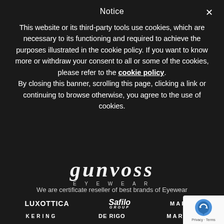Notice
This website or its third-party tools use cookies, which are necessary to its functioning and required to achieve the purposes illustrated in the cookie policy. If you want to know more or withdraw your consent to all or some of the cookies, please refer to the cookie policy. By closing this banner, scrolling this page, clicking a link or continuing to browse otherwise, you agree to the use of cookies.
[Figure (logo): Gunvoss Eyewear logo partially visible at bottom]
We are certificate reseller of best brands of Eyewear
[Figure (logo): Luxottica, Safilo Group, Marchon, Kering, De Rigo, Marcolin brand logos in two rows]
[Figure (logo): reCAPTCHA Privacy - Terms badge in bottom right corner]